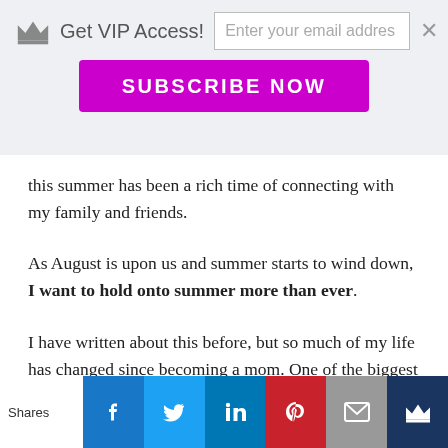Get VIP Access! [email input] SUBSCRIBE NOW [close]
this summer has been a rich time of connecting with my family and friends.
As August is upon us and summer starts to wind down, I want to hold onto summer more than ever.
I have written about this before, but so much of my life has changed since becoming a mom. One of the biggest changes has been my friendships. Many of my pre-kid friends didn't join me in motherhood for quite a few years. As a result, I felt very alone in this
Shares [Facebook] [Twitter] [LinkedIn] [Pinterest] [Email] [Crown]